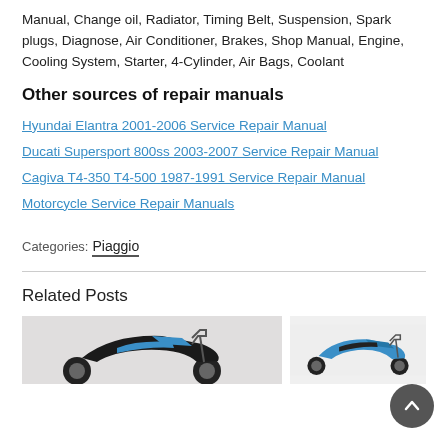Manual, Change oil, Radiator, Timing Belt, Suspension, Spark plugs, Diagnose, Air Conditioner, Brakes, Shop Manual, Engine, Cooling System, Starter, 4-Cylinder, Air Bags, Coolant
Other sources of repair manuals
Hyundai Elantra 2001-2006 Service Repair Manual
Ducati Supersport 800ss 2003-2007 Service Repair Manual
Cagiva T4-350 T4-500 1987-1991 Service Repair Manual
Motorcycle Service Repair Manuals
Categories:  Piaggio
Related Posts
[Figure (photo): Two scooter/motorcycle images side by side — left shows a black and blue scooter, right shows a blue scooter]